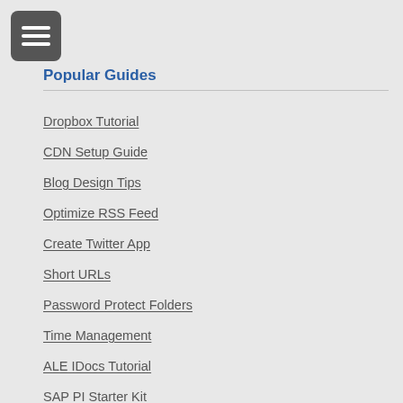[Figure (other): Hamburger menu icon button — three horizontal white lines on dark grey rounded square background]
Popular Guides
Dropbox Tutorial
CDN Setup Guide
Blog Design Tips
Optimize RSS Feed
Create Twitter App
Short URLs
Password Protect Folders
Time Management
ALE IDocs Tutorial
SAP PI Starter Kit